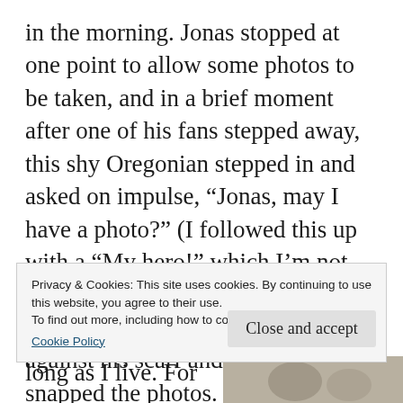in the morning. Jonas stopped at one point to allow some photos to be taken, and in a brief moment after one of his fans stepped away, this shy Oregonian stepped in and asked on impulse, “Jonas, may I have a photo?” (I followed this up with a “My hero!” which I’m not sure that he heard…) Still in a daze, I unthinkingly rested my head against his scarf and jacket as Viv snapped the photos. (And I didn’t even say “Il core vi dono!” Such restraint! 😉 ) He is so gracious. After that, I suppose I could have flown back to Oregon without the plane. (Viv and I did literally run across the
Privacy & Cookies: This site uses cookies. By continuing to use this website, you agree to their use.
To find out more, including how to control cookies, see here:
Cookie Policy
Close and accept
long as I live. For
[Figure (photo): Partial photo visible at bottom right of page, showing indistinct figures]